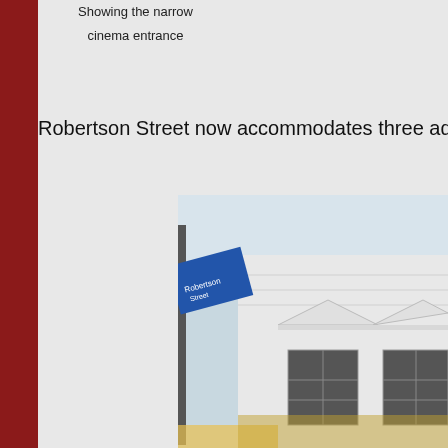Showing the narrow cinema entrance
Robertson Street now accommodates three adjoining
[Figure (photo): Photograph of a white classical-style building facade on Robertson Street, with decorative pediments above windows, viewed from street level with a street sign visible in the foreground.]